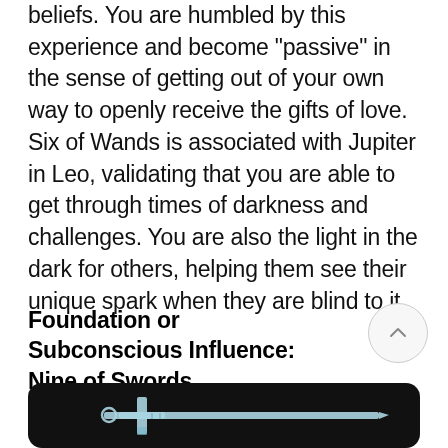beliefs. You are humbled by this experience and become "passive" in the sense of getting out of your own way to openly receive the gifts of love. Six of Wands is associated with Jupiter in Leo, validating that you are able to get through times of darkness and challenges. You are also the light in the dark for others, helping them see their unique spark when they are blind to it.
Foundation or Subconscious Influence: Nine of Swords
[Figure (illustration): Tarot card illustration on dark/black background showing a sword (Nine of Swords) in white/light blue line art, displayed as a horizontal sword with crossguard]